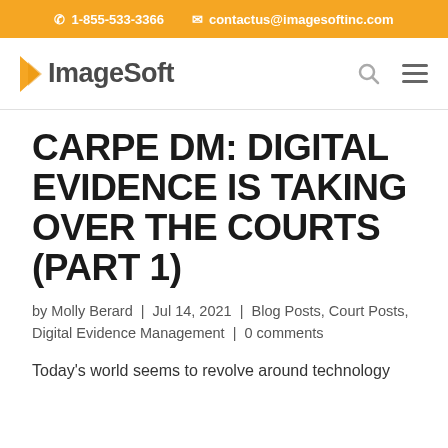1-855-533-3366  contactus@imagesoftinc.com
[Figure (logo): ImageSoft logo with orange arrow/chevron icon and bold gray text 'ImageSoft', plus search and hamburger menu icons]
CARPE DM: DIGITAL EVIDENCE IS TAKING OVER THE COURTS (PART 1)
by Molly Berard | Jul 14, 2021 | Blog Posts, Court Posts, Digital Evidence Management | 0 comments
Today's world seems to revolve around technology